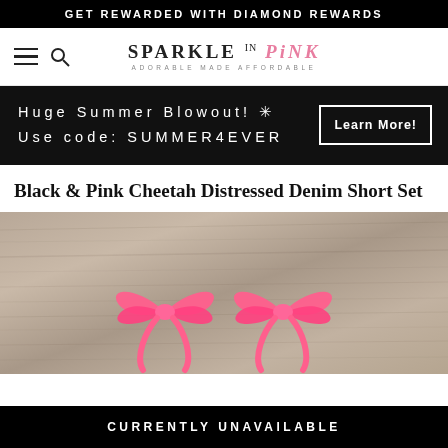GET REWARDED WITH DIAMOND REWARDS
[Figure (logo): Sparkle in Pink logo with hamburger menu and search icon on the left]
Huge Summer Blowout! Use code: SUMMER4EVER
Black & Pink Cheetah Distressed Denim Short Set
[Figure (photo): Wood floor background with two pink bows visible at bottom]
CURRENTLY UNAVAILABLE